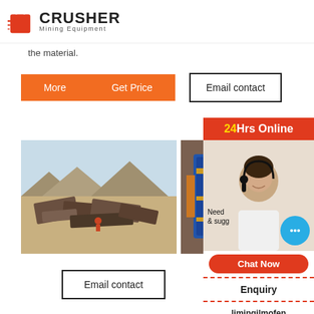CRUSHER Mining Equipment
the material.
More   Get Price
Email contact
[Figure (photo): Mining equipment/machinery debris in desert landscape]
[Figure (photo): Industrial crusher machinery close-up, blue cylindrical equipment]
[Figure (photo): Customer service representative with headset, 24Hrs Online sidebar with Chat Now, Enquiry, limingjlmofen@sina.com]
Email contact